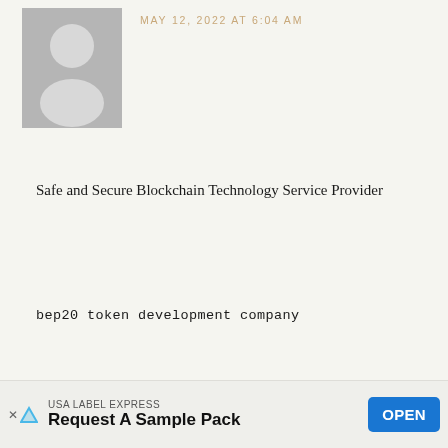[Figure (illustration): Generic user avatar silhouette, gray background, top comment]
MAY 12, 2022 AT 6:04 AM
Safe and Secure Blockchain Technology Service Provider
bep20 token development company
Reply
[Figure (illustration): Generic user avatar silhouette, gray background, bottom comment]
BLOOD TEST IN KOLKATA says
[Figure (advertisement): USA LABEL EXPRESS - Request A Sample Pack - OPEN button ad bar]